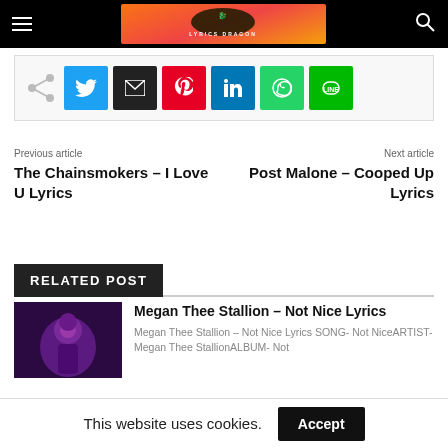Lyrics Dragon website header with navigation hamburger menu, logo, and search icon
[Figure (other): Social share buttons row: share icon, Twitter, Email, Pinterest, LinkedIn, WhatsApp, LINE]
Previous article
The Chainsmokers – I Love U Lyrics
Next article
Post Malone – Cooped Up Lyrics
RELATED POST
[Figure (photo): Thumbnail image of Megan Thee Stallion in purple stage lighting]
Megan Thee Stallion – Not Nice Lyrics
Megan Thee Stallion – Not Nice Lyrics SONG- Not NiceARTIST- Megan Thee StallionALBUM- Not
This website uses cookies.
Accept